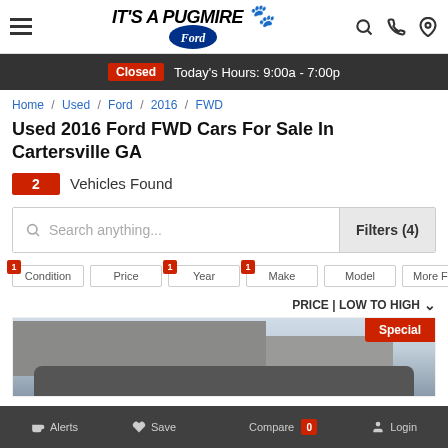IT'S A PUGMIRE Ford — Used Cars Dealer
Closed  Today's Hours: 9:00a - 7:00p
Home / Used / Ford / 2016 / FWD
Used 2016 Ford FWD Cars For Sale In Cartersville GA
2 Vehicles Found
Search anything...  Filters (4)
1 Condition  |  Price  |  1 Year  |  1 Make  |  Model  |  More Filters
PRICE | LOW TO HIGH
[Figure (photo): Car dealership building exterior with a vehicle in front, labeled Special]
Alerts  Save  Compare 0  Login